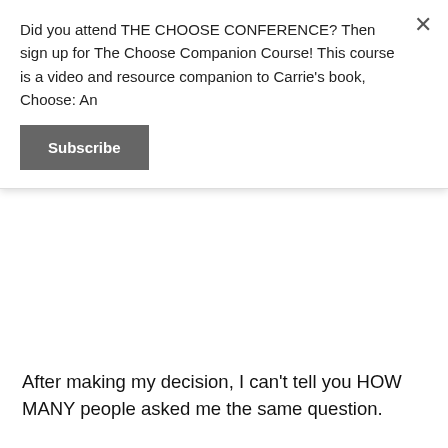Did you attend THE CHOOSE CONFERENCE? Then sign up for The Choose Companion Course! This course is a video and resource companion to Carrie's book, Choose: An
Subscribe
After making my decision, I can't tell you HOW MANY people asked me the same question.
“Won’t you miss the students?”
There it is. The biggest misinformation about our jobs as administrators. And maybe it is a statement that deserves some explanation. Because here’s the thing:
I don’t remember my high school principal.
I spoke with him once that I recall. Once in the four years I